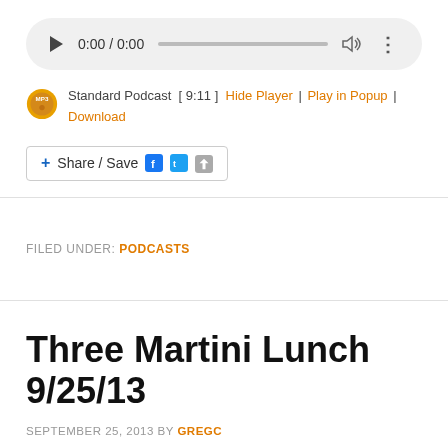[Figure (screenshot): Audio player bar showing play button, time 0:00 / 0:00, progress bar, volume icon, and more options icon on a rounded grey background]
Standard Podcast [ 9:11 ] Hide Player | Play in Popup | Download
[Figure (screenshot): Share / Save button with Facebook, Twitter, and export icons]
FILED UNDER: PODCASTS
Three Martini Lunch 9/25/13
SEPTEMBER 25, 2013 BY GREGC
Greg Corombos of Radio America and Jim